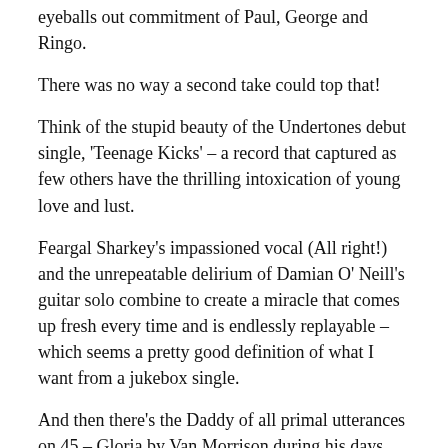eyeballs out commitment of Paul, George and Ringo.
There was no way a second take could top that!
Think of the stupid beauty of the Undertones debut single, 'Teenage Kicks' – a record that captured as few others have the thrilling intoxication of young love and lust.
Feargal Sharkey's impassioned vocal (All right!) and the unrepeatable delirium of Damian O' Neill's guitar solo combine to create a miracle that comes up fresh every time and is endlessly replayable – which seems a pretty good definition of what I want from a jukebox single.
And then there's the Daddy of all primal utterances on 45 – Gloria by Van Morrison during his days with Them.